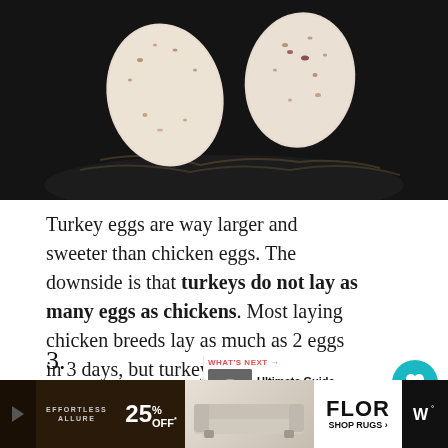[Figure (photo): Speckled turkey eggs in a bowl on a dark background, viewed from above]
Turkey eggs are way larger and sweeter than chicken eggs. The downside is that turkeys do not lay as many eggs as chickens. Most laying chicken breeds lay as much as 2 eggs in 3 days, but turkeys cannot lay more than 3 eggs weekly.
Even though turkeys do not lay as many eggs as chickens, you still get to enjoy turkey eggs.
[Figure (infographic): What's Next widget showing thumbnail and text: Ultimate Guide to Raising...]
[Figure (infographic): Advertisement banner: Effortless Allure, 25% Off, FLOR Shop Rugs]
3.